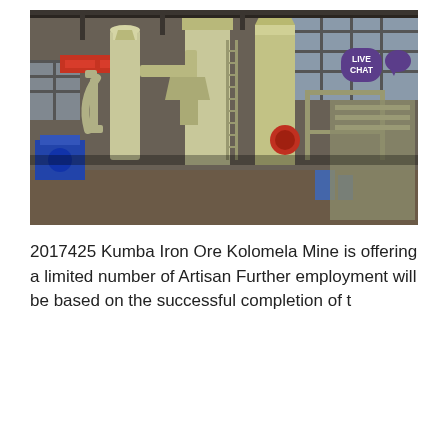[Figure (photo): Interior of an industrial facility showing large cream/yellow-painted industrial machinery including cyclone separators, dust collectors, conveyor systems and structural steel scaffolding. A red banner is visible in the background. A 'LIVE CHAT' button overlay appears in the top-right corner of the image.]
2017425 Kumba Iron Ore Kolomela Mine is offering a limited number of Artisan Further employment will be based on the successful completion of t